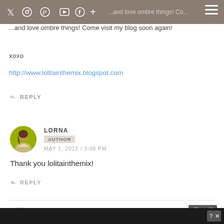Social media icons and navigation bar
...and love ombre things! Come visit my blog soon again!
xoxo
http://www.lolitainthemix.blogspot.com
REPLY
LORNA
AUTHOR
MAY 1, 2012 / 3:08 PM
Thank you lolitainthemix!
REPLY
VICTORIA